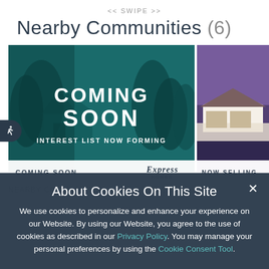<< SWIPE >>
Nearby Communities (6)
[Figure (photo): Left community card showing a 'Coming Soon' overlay on a teal-tinted house photo, with 'Interest List Now Forming' text and Express Homes logo at the bottom bar reading COMING SOON]
[Figure (photo): Right partially visible community card showing a house at dusk/night with purple sky, with NOW SELLING status bar]
About Cookies On This Site
We use cookies to personalize and enhance your experience on our Website. By using our Website, you agree to the use of cookies as described in our Privacy Policy. You may manage your personal preferences by using the Cookie Consent Tool.